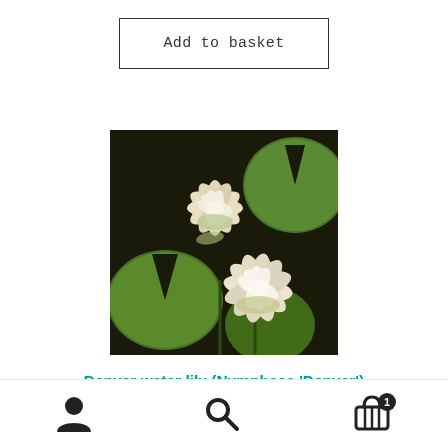Add to basket
[Figure (photo): Two white water lily flowers (Nymphaea 'Denver') floating among large green lily pads on dark water]
Denver water lily (Nymphaea 'Denver')
[Figure (other): Bottom navigation bar with user account icon, search icon, and shopping basket icon with badge showing 1 item]